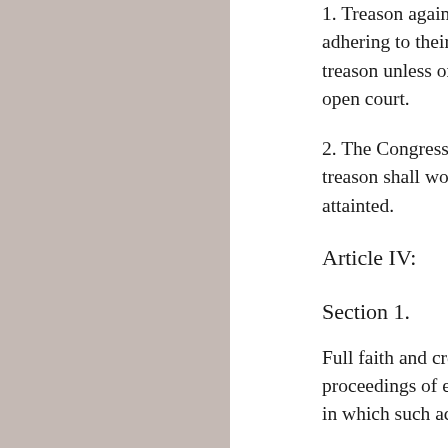1. Treason against the United States shall consist only in levying war against them, or in adhering to their enemies, giving them aid and comfort. No person shall be convicted of treason unless on the testimony of two witnesses to the same overt act, or on confession in open court.
2. The Congress shall have power to declare the punishment of treason, but no attainder of treason shall work corruption of blood, or forfeiture except during the life of the person attainted.
Article IV:
Section 1.
Full faith and credit shall be given in each state to the public acts, records, and judicial proceedings of every other state. And the Congress may by general laws prescribe the manner in which such acts, records and proceedings shall be proved, and the effect thereof.
Section 2.
1. The Citizens of each state shall be entitled to all privileges and immunities of citizens in the several states.
2. A person charged in any state with treason, felony, or other crime, who shall flee from justice,